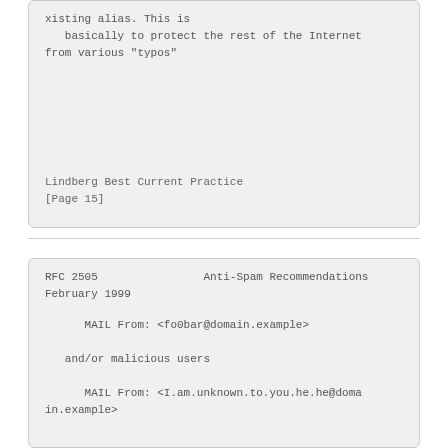xisting alias. This is
   basically to protect the rest of the Internet
from various "typos"
Lindberg                     Best Current Practice
[Page 15]
RFC 2505                Anti-Spam Recommendations
February 1999
MAIL From: <fo0bar@domain.example>

   and/or malicious users

      MAIL From: <I.am.unknown.to.you.he.he@doma
in.example>